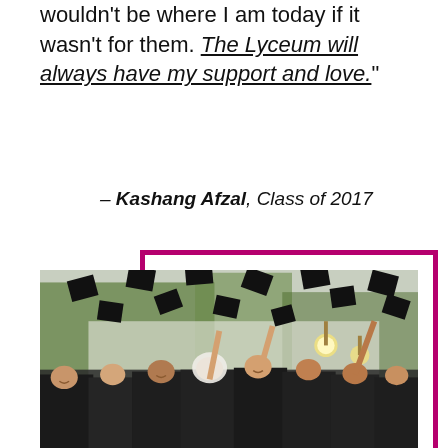wouldn't be where I am today if it wasn't for them. The Lyceum will always have my support and love."
– Kashang Afzal, Class of 2017
[Figure (photo): Graduation ceremony photo showing graduates in black caps and gowns tossing their mortarboard caps into the air, smiling and celebrating outdoors.]